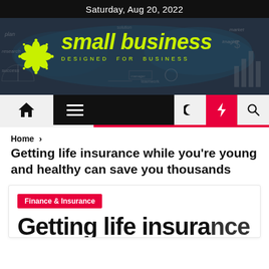Saturday, Aug 20, 2022
[Figure (logo): Small Business website banner with flower logo, world map background, and tagline 'DESIGNED FOR BUSINESS']
Home > Getting life insurance while you're young and healthy can save you thousands
Getting life insurance while you're young and healthy can save you thousands
Finance & Insurance
Getting life insura...